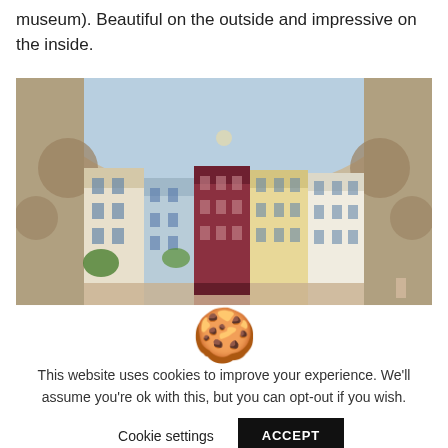museum). Beautiful on the outside and impressive on the inside.
[Figure (photo): View of colorful European building facades framed through a large ornate stone arch, photographed from below looking outward.]
[Figure (other): Cookie consent overlay with cookie emoji icon, text about website cookie policy, and buttons for Cookie settings and ACCEPT.]
This website uses cookies to improve your experience. We'll assume you're ok with this, but you can opt-out if you wish.
Cookie settings
ACCEPT